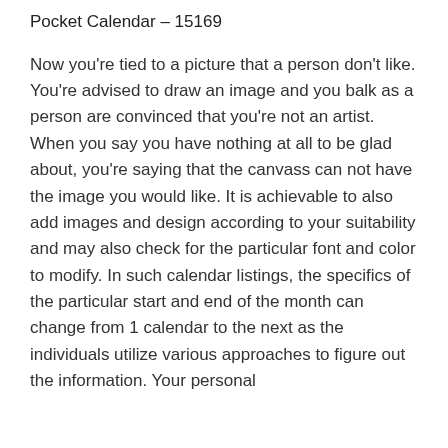Pocket Calendar – 15169
Now you're tied to a picture that a person don't like. You're advised to draw an image and you balk as a person are convinced that you're not an artist. When you say you have nothing at all to be glad about, you're saying that the canvass can not have the image you would like. It is achievable to also add images and design according to your suitability and may also check for the particular font and color to modify. In such calendar listings, the specifics of the particular start and end of the month can change from 1 calendar to the next as the individuals utilize various approaches to figure out the information. Your personal